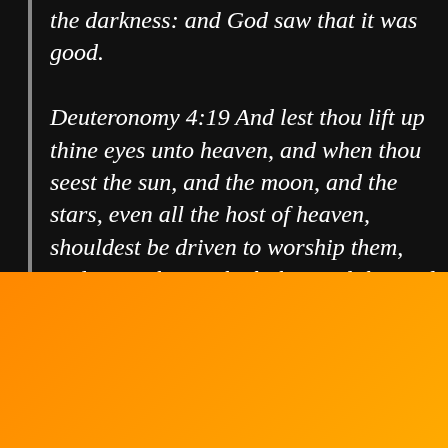the darkness: and God saw that it was good.

Deuteronomy 4:19 And lest thou lift up thine eyes unto heaven, and when thou seest the sun, and the moon, and the stars, even all the host of heaven, shouldest be driven to worship them, and serve them, which the Lord thy God hath divided unto all nations
First name *
Email *
SUBSCRIBE!